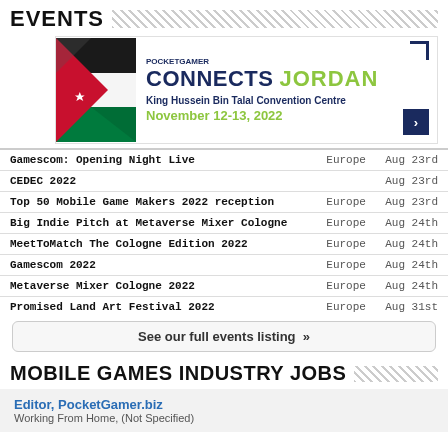EVENTS
[Figure (illustration): Pocket Gamer Connects Jordan banner with Jordan flag graphic, event name 'Pocket Gamer Connects Jordan', venue 'King Hussein Bin Talal Convention Centre', date 'November 12-13, 2022']
| Event | Region | Date |
| --- | --- | --- |
| Gamescom: Opening Night Live | Europe | Aug 23rd |
| CEDEC 2022 |  | Aug 23rd |
| Top 50 Mobile Game Makers 2022 reception | Europe | Aug 23rd |
| Big Indie Pitch at Metaverse Mixer Cologne | Europe | Aug 24th |
| MeetToMatch The Cologne Edition 2022 | Europe | Aug 24th |
| Gamescom 2022 | Europe | Aug 24th |
| Metaverse Mixer Cologne 2022 | Europe | Aug 24th |
| Promised Land Art Festival 2022 | Europe | Aug 31st |
See our full events listing »
MOBILE GAMES INDUSTRY JOBS
Editor, PocketGamer.biz
Working From Home, (Not Specified)